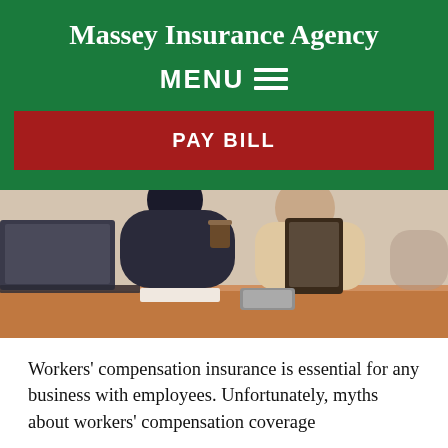Massey Insurance Agency
MENU ≡
PAY BILL
[Figure (photo): Two people at an office desk with a laptop, tablet, and phone; one holding a coffee cup]
Workers' compensation insurance is essential for any business with employees. Unfortunately, myths about workers' compensation coverage